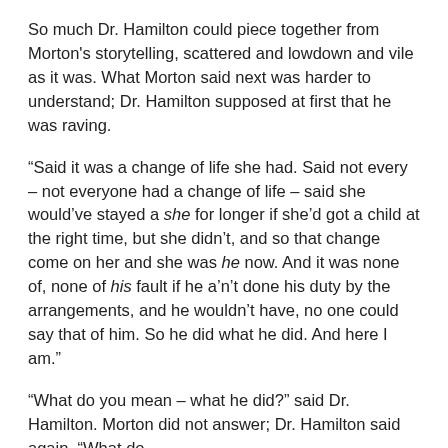So much Dr. Hamilton could piece together from Morton's storytelling, scattered and lowdown and vile as it was. What Morton said next was harder to understand; Dr. Hamilton supposed at first that he was raving.
“Said it was a change of life she had. Said not every – not everyone had a change of life – said she would’ve stayed a she for longer if she’d got a child at the right time, but she didn’t, and so that change come on her and she was he now. And it was none of, none of his fault if he a’n’t done his duty by the arrangements, and he wouldn’t have, no one could say that of him. So he did what he did. And here I am.”
“What do you mean – what he did?” said Dr. Hamilton. Morton did not answer; Dr. Hamilton said again, “What do